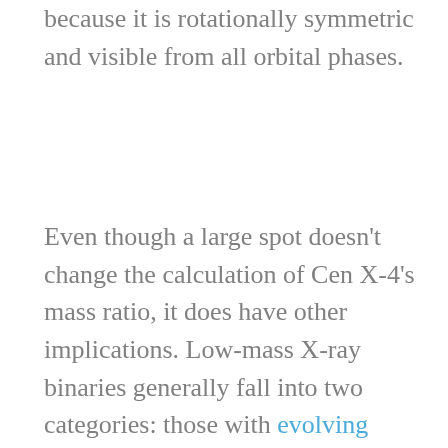because it is rotationally symmetric and visible from all orbital phases.
Even though a large spot doesn't change the calculation of Cen X-4's mass ratio, it does have other implications. Low-mass X-ray binaries generally fall into two categories: those with evolving companion stars and those with relatively unevolved companions. In the first case, mass transfer is driven by stellar evolution. In the second